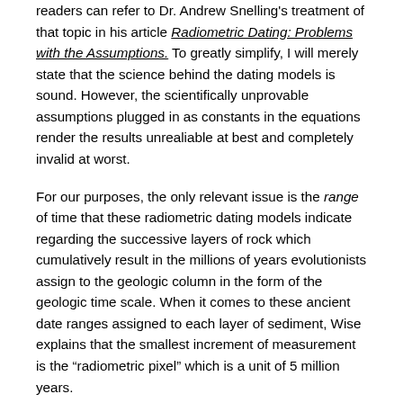readers can refer to Dr. Andrew Snelling's treatment of that topic in his article Radiometric Dating: Problems with the Assumptions. To greatly simplify, I will merely state that the science behind the dating models is sound. However, the scientifically unprovable assumptions plugged in as constants in the equations render the results unrealiable at best and completely invalid at worst.
For our purposes, the only relevant issue is the range of time that these radiometric dating models indicate regarding the successive layers of rock which cumulatively result in the millions of years evolutionists assign to the geologic column in the form of the geologic time scale. When it comes to these ancient date ranges assigned to each layer of sediment, Wise explains that the smallest increment of measurement is the “radiometric pixel” which is a unit of 5 million years.